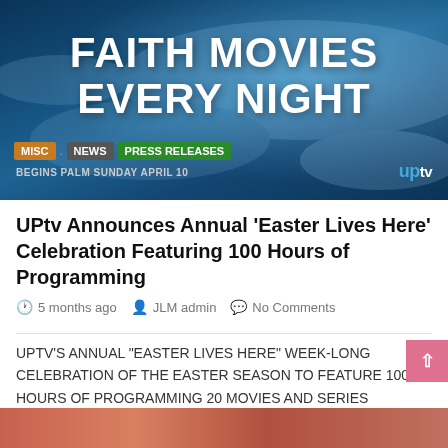[Figure (photo): Banner image with dark blue ocean/water background and large bold white text reading FAITH MOVIES EVERY NIGHT with tags MISC, NEWS, PRESS RELEASES and text BEGINS PALM SUNDAY APRIL 10 and UPtv logo]
UPtv Announces Annual ‘Easter Lives Here’ Celebration Featuring 100 Hours of Programming
5 months ago   JLM admin   No Comments
UPtv’s ANNUAL “EASTER LIVES HERE” WEEK-LONG CELEBRATION OF THE EASTER SEASON TO FEATURE 100 HOURS OF PROGRAMMING 20 MOVIES AND SERIES INCLUDE TWO WORLD BROADCAST PREMIERE MOVIES FAITH, HOPE & LOVE  AND SMALL...
[Figure (photo): Bottom image strip partially visible at bottom of page]